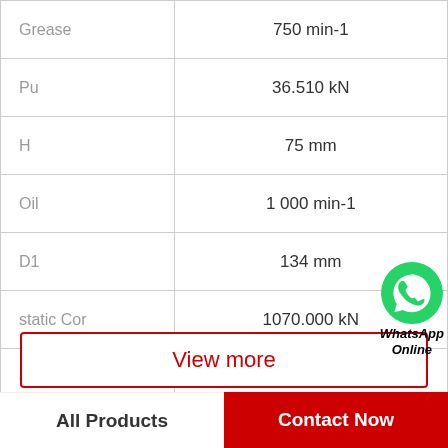| Parameter | Value |
| --- | --- |
| Grease | 750 min-1 |
| Pu | 36.510 kN |
| H | 75 mm |
| Oil | 1 000 min-1 |
| D1 | 134 mm |
| static Cor | 1070.000 kN |
| d | 130 mm |
[Figure (logo): WhatsApp Online badge with green phone icon and text 'WhatsApp Online']
View more
All Products
Contact Now